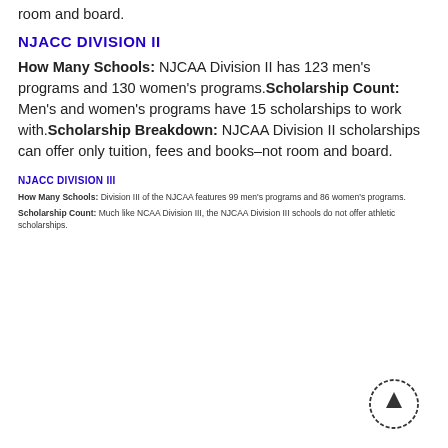room and board.
NJACC DIVISION II
How Many Schools: NJCAA Division II has 123 men's programs and 130 women's programs. Scholarship Count: Men's and women's programs have 15 scholarships to work with. Scholarship Breakdown: NJCAA Division II scholarships can offer only tuition, fees and books–not room and board.
NJACC DIVISION III
How Many Schools: Division III of the NJCAA features 99 men's programs and 86 women's programs.
Scholarship Count: Much like NCAA Division III, the NJCAA Division III schools do not offer athletic scholarships.
[Figure (other): Circular arrow button pointing upward (scroll to top button)]